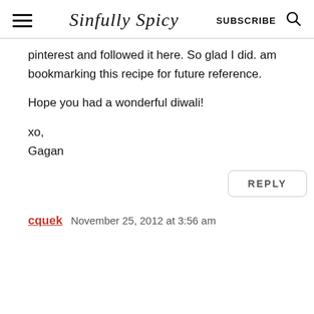Sinfully Spicy | SUBSCRIBE
pinterest and followed it here. So glad I did. am bookmarking this recipe for future reference.

Hope you had a wonderful diwali!

xo,
Gagan
REPLY
cquek   November 25, 2012 at 3:56 am